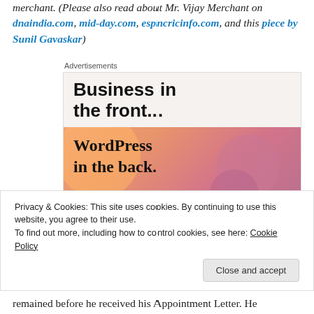merchant. (Please also read about Mr. Vijay Merchant on dnaindia.com, mid-day.com, espncricinfo.com, and this piece by Sunil Gavaskar)
[Figure (screenshot): Advertisement box showing 'Business in the front... WordPress in the back.' with a WordPress advertisement graphic featuring orange and pink gradient with circular shapes.]
Privacy & Cookies: This site uses cookies. By continuing to use this website, you agree to their use. To find out more, including how to control cookies, see here: Cookie Policy
remained before he received his Appointment Letter. He